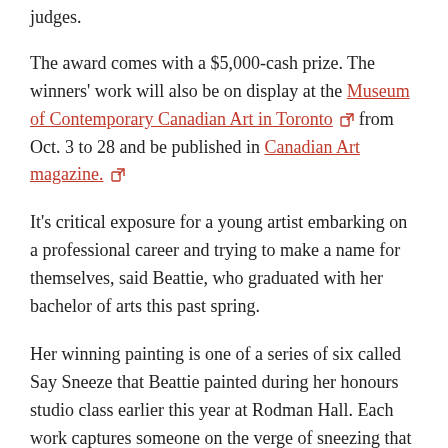judges.
The award comes with a $5,000-cash prize. The winners' work will also be on display at the Museum of Contemporary Canadian Art in Toronto from Oct. 3 to 28 and be published in Canadian Art magazine.
It's critical exposure for a young artist embarking on a professional career and trying to make a name for themselves, said Beattie, who graduated with her bachelor of arts this past spring.
Her winning painting is one of a series of six called Say Sneeze that Beattie painted during her honours studio class earlier this year at Rodman Hall. Each work captures someone on the verge of sneezing that she photographed up to 100 times first.
“A photograph is an instantaneous thing, just like a sneeze,” she explained.
The series is a work in progress and will eventually include a